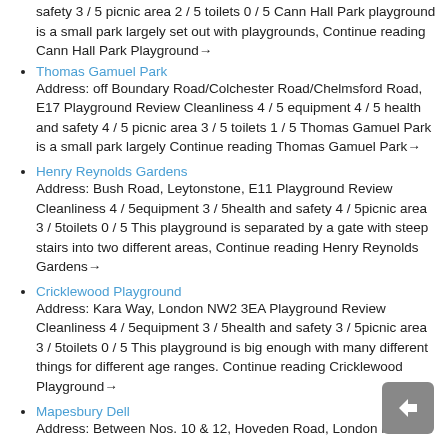safety 3 / 5 picnic area 2 / 5 toilets 0 / 5 Cann Hall Park playground is a small park largely set out with playgrounds, Continue reading Cann Hall Park Playground→
Thomas Gamuel Park
Address: off Boundary Road/Colchester Road/Chelmsford Road, E17 Playground Review Cleanliness 4 / 5 equipment 4 / 5 health and safety 4 / 5 picnic area 3 / 5 toilets 1 / 5 Thomas Gamuel Park is a small park largely Continue reading Thomas Gamuel Park→
Henry Reynolds Gardens
Address: Bush Road, Leytonstone, E11 Playground Review Cleanliness 4 / 5equipment 3 / 5health and safety 4 / 5picnic area 3 / 5toilets 0 / 5 This playground is separated by a gate with steep stairs into two different areas, Continue reading Henry Reynolds Gardens→
Cricklewood Playground
Address: Kara Way, London NW2 3EA Playground Review Cleanliness 4 / 5equipment 3 / 5health and safety 3 / 5picnic area 3 / 5toilets 0 / 5 This playground is big enough with many different things for different age ranges. Continue reading Cricklewood Playground→
Mapesbury Dell
Address: Between Nos. 10 & 12, Hoveden Road, London NW2